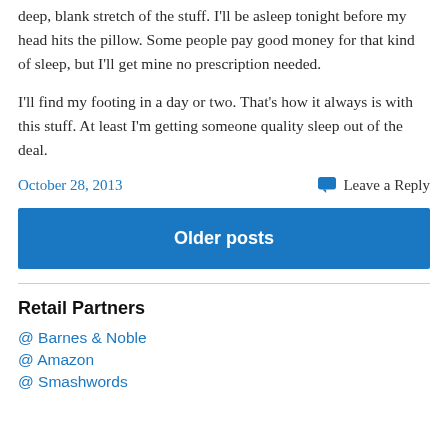deep, blank stretch of the stuff. I'll be asleep tonight before my head hits the pillow. Some people pay good money for that kind of sleep, but I'll get mine no prescription needed.
I'll find my footing in a day or two. That's how it always is with this stuff. At least I'm getting someone quality sleep out of the deal.
October 28, 2013
Leave a Reply
Older posts
Retail Partners
@ Barnes & Noble
@ Amazon
@ Smashwords